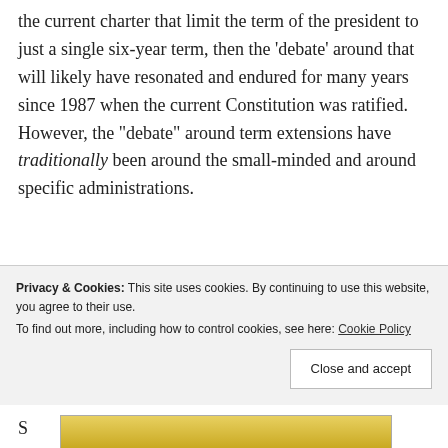the current charter that limit the term of the president to just a single six-year term, then the 'debate' around that will likely have resonated and endured for many years since 1987 when the current Constitution was ratified. However, the "debate" around term extensions have traditionally been around the small-minded and around specific administrations.
[Figure (photo): Photo of a man with a speech bubble saying 'PATAY...' overlaid on the image]
F
o
r
Privacy & Cookies: This site uses cookies. By continuing to use this website, you agree to their use.
To find out more, including how to control cookies, see here: Cookie Policy
Close and accept
[Figure (photo): Partial photo at bottom showing person in yellow clothing]